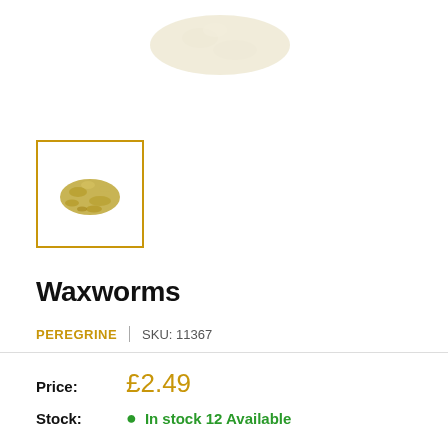[Figure (photo): Faint/blurred product image of waxworms at the top of the page]
[Figure (photo): Small thumbnail image of waxworms in a golden bordered box]
Waxworms
PEREGRINE | SKU: 11367
Price: £2.49
Stock: In stock 12 Available